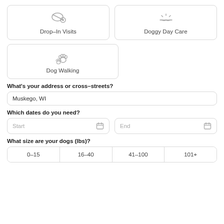[Figure (illustration): Drop-In Visits service card with a pet toy/ball icon]
[Figure (illustration): Doggy Day Care service card with a sunrise/sun icon]
[Figure (illustration): Dog Walking service card with a paw prints icon]
What's your address or cross-streets?
Muskego, WI
Which dates do you need?
Start
End
What size are your dogs (lbs)?
0–15
16–40
41–100
101+